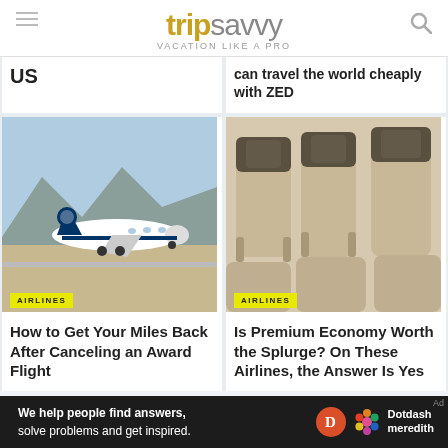tripsavvy — VACATION LIKE A PRO
US
can travel the world cheaply with ZED
[Figure (photo): Alaska Airlines plane taking off at airport with mountains in background]
AIRLINES
How to Get Your Miles Back After Canceling an Award Flight
[Figure (photo): Premium economy airline seats with beige leather and patterned headrests]
AIRLINES
Is Premium Economy Worth the Splurge? On These Airlines, the Answer Is Yes
We help people find answers, solve problems and get inspired. Dotdash meredith